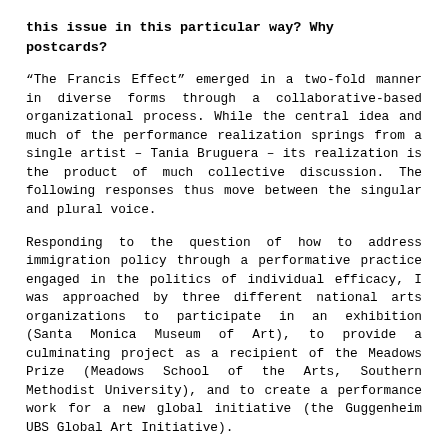this issue in this particular way? Why postcards?
“The Francis Effect” emerged in a two-fold manner in diverse forms through a collaborative-based organizational process. While the central idea and much of the performance realization springs from a single artist – Tania Bruguera – its realization is the product of much collective discussion. The following responses thus move between the singular and plural voice.
Responding to the question of how to address immigration policy through a performative practice engaged in the politics of individual efficacy, I was approached by three different national arts organizations to participate in an exhibition (Santa Monica Museum of Art), to provide a culminating project as a recipient of the Meadows Prize (Meadows School of the Arts, Southern Methodist University), and to create a performance work for a new global initiative (the Guggenheim UBS Global Art Initiative).
The concept for “The Francis Effect” is an extension of my recent long-term project “Immigrant Movement International,” that also allows for the articulation of other rituals by which politics are enacted in public space, specifically herein as embodied in the